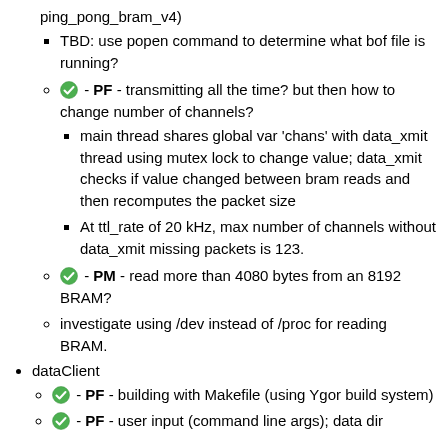ping_pong_bram_v4)
TBD: use popen command to determine what bof file is running?
✓ - PF - transmitting all the time? but then how to change number of channels?
main thread shares global var 'chans' with data_xmit thread using mutex lock to change value; data_xmit checks if value changed between bram reads and then recomputes the packet size
At ttl_rate of 20 kHz, max number of channels without data_xmit missing packets is 123.
✓ - PM - read more than 4080 bytes from an 8192 BRAM?
investigate using /dev instead of /proc for reading BRAM.
dataClient
✓ - PF - building with Makefile (using Ygor build system)
✓ - PF - user input (command line args); data dir